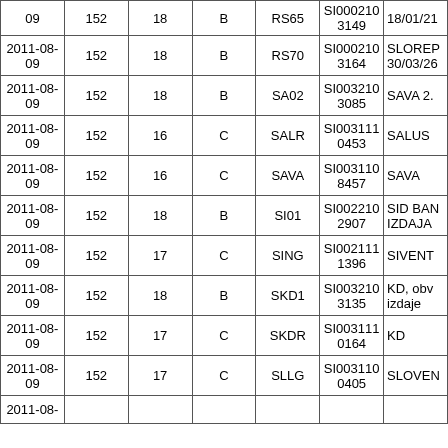| Date | Col2 | Col3 | Col4 | Ticker | ISIN | Name |
| --- | --- | --- | --- | --- | --- | --- |
| 09 | 152 | 18 | B | RS65 | SI0002103149 | 18/01/21 |
| 2011-08-09 | 152 | 18 | B | RS70 | SI0002103164 | SLOREP 30/03/26 |
| 2011-08-09 | 152 | 18 | B | SA02 | SI0032103085 | SAVA 2. |
| 2011-08-09 | 152 | 16 | C | SALR | SI0031110453 | SALUS |
| 2011-08-09 | 152 | 16 | C | SAVA | SI0031108457 | SAVA |
| 2011-08-09 | 152 | 18 | B | SI01 | SI0022102907 | SID BAN IZDAJA |
| 2011-08-09 | 152 | 17 | C | SING | SI0021111396 | SIVENT |
| 2011-08-09 | 152 | 18 | B | SKD1 | SI0032103135 | KD, obv izdaje |
| 2011-08-09 | 152 | 17 | C | SKDR | SI0031110164 | KD |
| 2011-08-09 | 152 | 17 | C | SLLG | SI0031100405 | SLOVEN |
| 2011-08- |  |  |  |  |  |  |